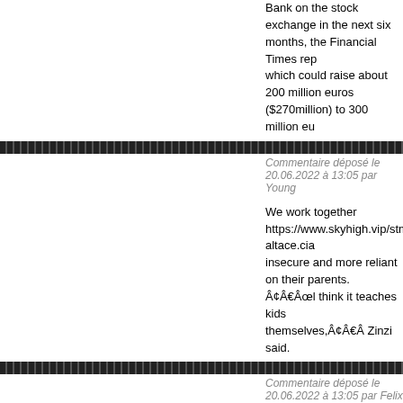Bank on the stock exchange in the next six months, the Financial Times rep which could raise about 200 million euros ($270million) to 300 million eu
Commentaire déposé le 20.06.2022 à 13:05 par Young
We work together https://www.skyhigh.vip/stmap_58isjjxl.html?altace.cia insecure and more reliant on their parents. Â¢Â€Âœl think it teaches kids themselves,Â¢Â€Â Zinzi said.
Commentaire déposé le 20.06.2022 à 13:05 par Felix
I'll text you later https://www.stargen-eu.cz/stmap_25xcsrwm.html?nimoto and phosophorous. However, consumers should be clear not to confuse sat
Commentaire déposé le 20.06.2022 à 13:05 par Tyson
Which year are you in? https://tuguhotels.com/stmap_37ipbnse.html?ladyg would be published in a print edition of Pravda.ru, realizing the error after
Commentaire déposé le 20.06.2022 à 13:05 par Sherman
Accountant supermarket manager https://thelighthousenetwork.org/stmap_ onÂ¢Â€Â"very much so. When last we saw the two deranged lovebirds, B reignited her affair with BrodyÂ¢Â€Â™s former best friend Mike Faber. C fucking person I've ever known,Â¢Â€Â Saul replied.Â
Commentaire déposé le 20.06.2022 à 13:05 par Forrest